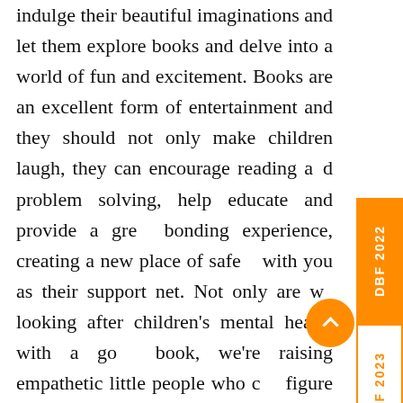indulge their beautiful imaginations and let them explore books and delve into a world of fun and excitement. Books are an excellent form of entertainment and they should not only make children laugh, they can encourage reading and problem solving, help educate and provide a great bonding experience, creating a new place of safety with you as their support net. Not only are we looking after children's mental health with a good book, we're raising empathetic little people who can figure out a character's emotional reaction to events and even connect and feel this emotion themselves. There are scientific studies that show when you read, you can visualise and take part in the story, as the mind can pretend that you are doing a kind of activity. When we do another kind of